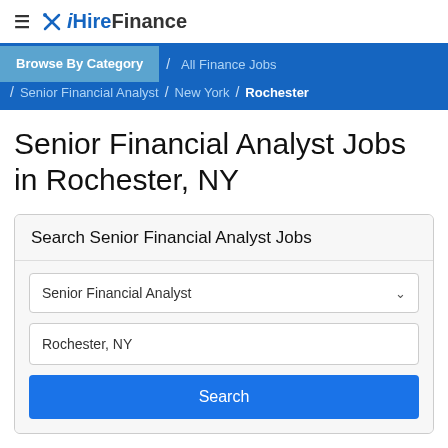iHireFinance
Browse By Category / All Finance Jobs / Senior Financial Analyst / New York / Rochester
Senior Financial Analyst Jobs in Rochester, NY
Search Senior Financial Analyst Jobs
Senior Financial Analyst
Rochester, NY
Search